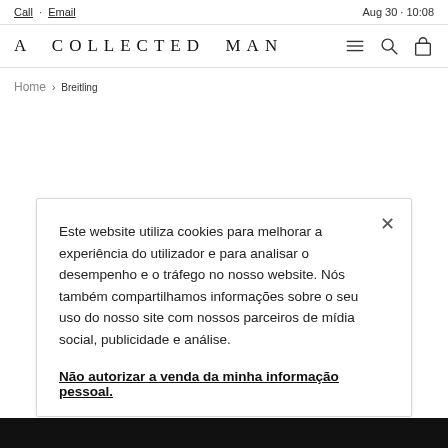Call · Email  |  Aug 30 · 10:08
A COLLECTED MAN
Home › Breitling
Este website utiliza cookies para melhorar a experiência do utilizador e para analisar o desempenho e o tráfego no nosso website. Nós também compartilhamos informações sobre o seu uso do nosso site com nossos parceiros de mídia social, publicidade e análise.
Não autorizar a venda da minha informação pessoal.